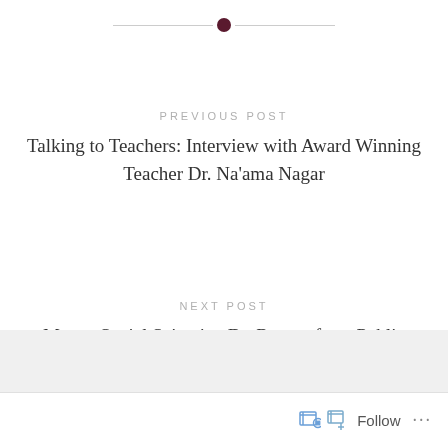[Figure (other): Horizontal divider with a dark red/maroon circle dot in the center and thin grey lines extending left and right]
PREVIOUS POST
Talking to Teachers: Interview with Award Winning Teacher Dr. Na'ama Nagar
NEXT POST
Meet a Social Scientist: Dr. Rowan from Public Health
Follow ...